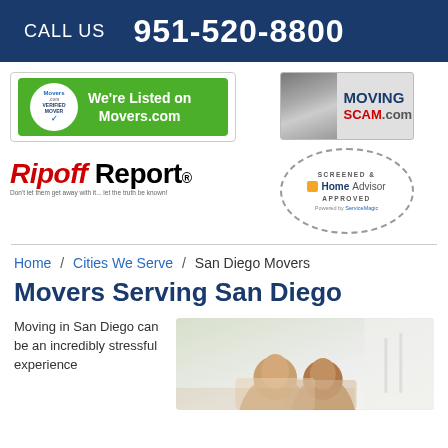CALL US  951-520-8800
[Figure (logo): Movers.com Verified Mover badge - green banner reading We're Listed on Movers.com]
[Figure (logo): MovingScam.com badge with truck image]
[Figure (logo): Ripoff Report logo - red italic Ripoff and black Report, tagline Don't let them get away with it... let the truth be known!]
[Figure (logo): HomeAdvisor Screened & Approved badge, Powered by ServiceMagic]
Home / Cities We Serve / San Diego Movers
Movers Serving San Diego
Moving in San Diego can be an incredibly stressful experience
[Figure (photo): Photo of a smiling couple, woman and man, in a bright room with plants in background]